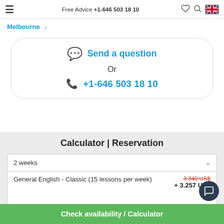Free Advice +1-646 503 18 10
Melbourne ↓
Send a question
Or
+1-646 503 18 10
Calculator | Reservation
2 weeks
General English - Classic (15 lessons per week)
3.340 US$
+ 3.257 US$
Starting date
Check availability / Calculator